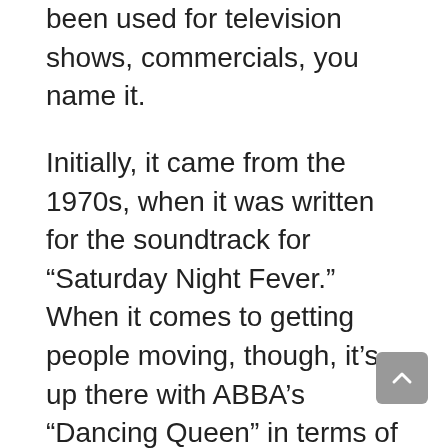been used for television shows, commercials, you name it.
Initially, it came from the 1970s, when it was written for the soundtrack for “Saturday Night Fever.” When it comes to getting people moving, though, it’s up there with ABBA’s “Dancing Queen” in terms of disco that era. What makes this song stick in your head is that “Ah… Ah… Ah… Stayin’ Alive” part. It’s such an earworm of a lyric.
The song won awards too, including the Grammy in 1979 for “Best Vocal Arrangement for Two Or More Voices.” It